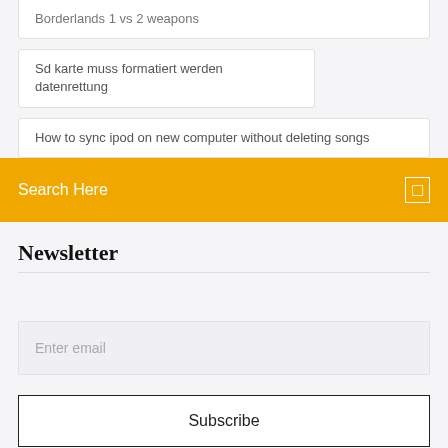Borderlands 1 vs 2 weapons
Sd karte muss formatiert werden datenrettung
How to sync ipod on new computer without deleting songs
Search Here
Newsletter
Enter email
Subscribe